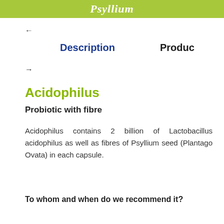Psyllium
←
Description
Produc
→
Acidophilus
Probiotic with fibre
Acidophilus contains 2 billion of Lactobacillus acidophilus as well as fibres of Psyllium seed (Plantago Ovata) in each capsule.
To whom and when do we recommend it?